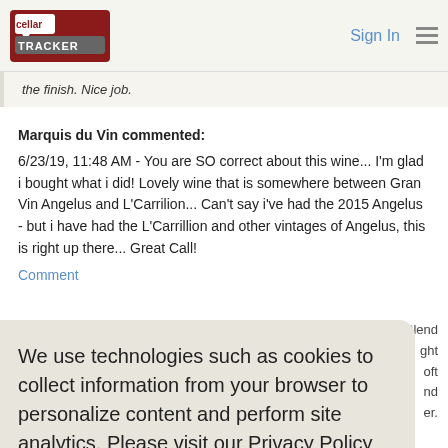CellarTracker | Sign In
the finish. Nice job.
Marquis du Vin commented:
6/23/19, 11:48 AM - You are SO correct about this wine... I'm glad i bought what i did! Lovely wine that is somewhere between Gran Vin Angelus and L'Carrilion... Can't say i've had the 2015 Angelus - but i have had the L'Carrillion and other vintages of Angelus, this is right up there... Great Call!
Comment
Blend
ght
oft
nd
er.
We use technologies such as cookies to collect information from your browser to personalize content and perform site analytics. Please visit our Privacy Policy for more information.
Learn more
Got it!
Marquis du Vin commented: